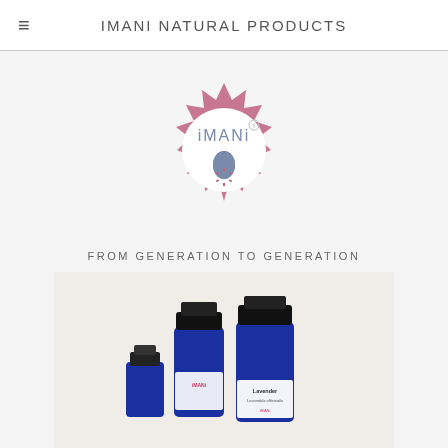IMANI NATURAL PRODUCTS
[Figure (logo): Imani Natural Products logo: a pink starburst/sun shape with a white circle in the center containing the text 'iMANi' and a blue water drop icon below it, with a small registered trademark circle symbol.]
FROM GENERATION TO GENERATION
[Figure (photo): Three blue glass essential oil bottles with black caps, one labeled 'Lavender Lavandula officinalis' with an Imani logo, arranged together on a light background.]